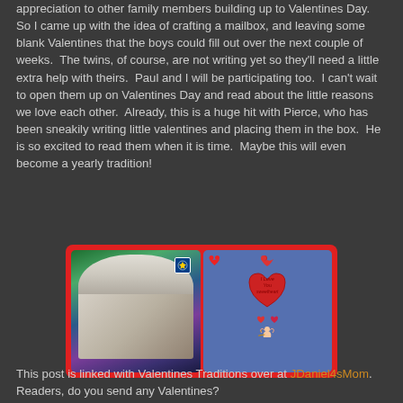appreciation to other family members building up to Valentines Day.  So I came up with the idea of crafting a mailbox, and leaving some blank Valentines that the boys could fill out over the next couple of weeks.  The twins, of course, are not writing yet so they'll need a little extra help with theirs.  Paul and I will be participating too.  I can't wait to open them up on Valentines Day and read about the little reasons we love each other.  Already, this is a huge hit with Pierce, who has been sneakily writing little valentines and placing them in the box.  He is so excited to read them when it is time.  Maybe this will even become a yearly tradition!
[Figure (photo): Two photos side by side with a red border: left photo shows a homemade mailbox decorated with colorful paper and a Walmart sticker; right photo shows the same mailbox covered in blue paper with heart stickers and a red heart reading 'I Love You' with cupid decorations.]
This post is linked with Valentines Traditions over at JDaniel4sMom.  Readers, do you send any Valentines?